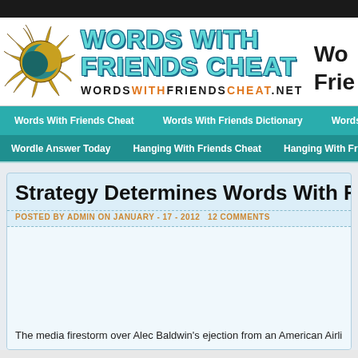Words With Friends Cheat — wordswithfriendscheat.net
Navigation: Words With Friends Cheat | Words With Friends Dictionary | Words With Frie...
Navigation: Wordle Answer Today | Hanging With Friends Cheat | Hanging With Friends B...
Strategy Determines Words With Friend...
POSTED BY ADMIN ON JANUARY - 17 - 2012   12 COMMENTS
The media firestorm over Alec Baldwin's ejection from an American Airlin...